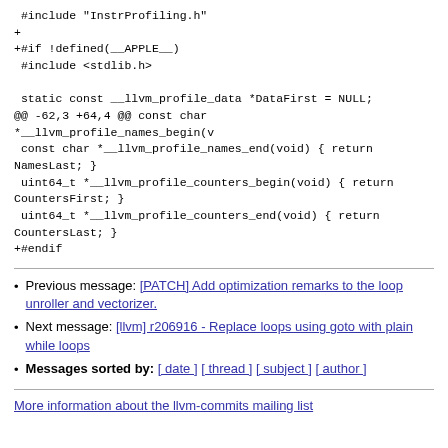#include "InstrProfiling.h"
+
+#if !defined(__APPLE__)
 #include <stdlib.h>

 static const __llvm_profile_data *DataFirst = NULL;
@@ -62,3 +64,4 @@ const char
*__llvm_profile_names_begin(v
 const char *__llvm_profile_names_end(void) { return NamesLast; }
 uint64_t *__llvm_profile_counters_begin(void) { return CountersFirst; }
 uint64_t *__llvm_profile_counters_end(void) { return CountersLast; }
+#endif
Previous message: [PATCH] Add optimization remarks to the loop unroller and vectorizer.
Next message: [llvm] r206916 - Replace loops using goto with plain while loops
Messages sorted by: [ date ] [ thread ] [ subject ] [ author ]
More information about the llvm-commits mailing list